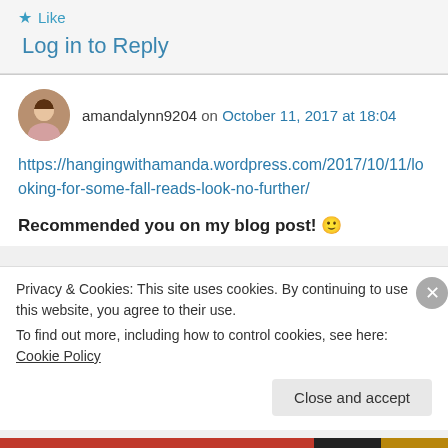★ Like
Log in to Reply
amandalynn9204 on October 11, 2017 at 18:04
https://hangingwithamanda.wordpress.com/2017/10/11/looking-for-some-fall-reads-look-no-further/
Recommended you on my blog post! 🙂
Privacy & Cookies: This site uses cookies. By continuing to use this website, you agree to their use. To find out more, including how to control cookies, see here: Cookie Policy
Close and accept